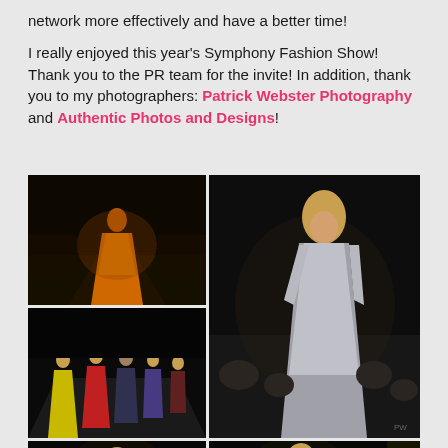network more effectively and have a better time!
I really enjoyed this year's Symphony Fashion Show! Thank you to the PR team for the invite! In addition, thank you to my photographers: Patrick Webster Photography and Authentic Photos and Designs!
[Figure (photo): Fashion show photo - model in orange gown on runway with dark background and audience]
[Figure (photo): Fashion show photo - tall right panel, model in silver sequin gown on runway]
[Figure (photo): Fashion show photo - multiple models on runway in colorful dresses]
[Figure (photo): Fashion show photo - bottom left, model in dark green dress]
[Figure (photo): Fashion show photo - bottom right, model in yellow patterned dress]